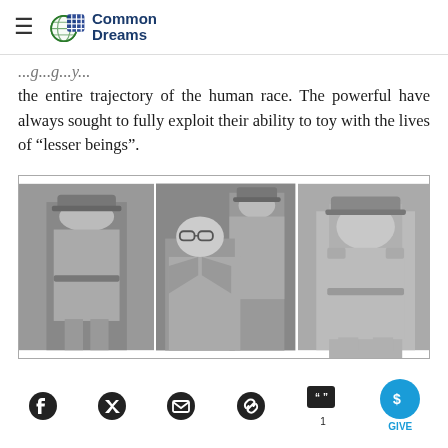Common Dreams
the entire trajectory of the human race. The powerful have always sought to fully exploit their ability to toy with the lives of “lesser beings”.
[Figure (photo): Black and white historical photograph in three panels showing men in military/police uniforms and a civilian with glasses at what appears to be a trial or official proceeding.]
Social sharing icons: Facebook, Twitter, Email, Link, Comments (1), Give